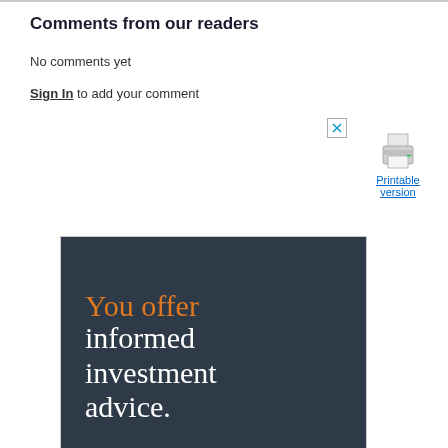Comments from our readers
No comments yet
Sign In to add your comment
[Figure (other): Advertisement banner with dark background showing text 'You offer informed investment advice.' with 'You offer' in orange and the rest in white, with a close button (X) in top right corner]
Printable version